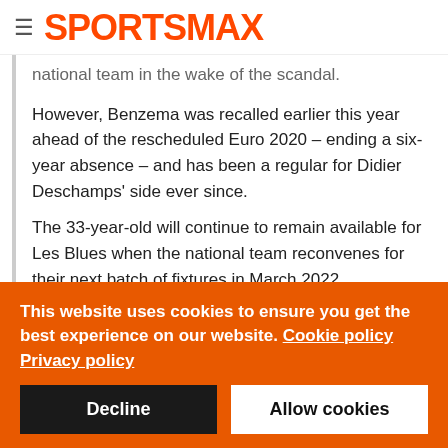SPORTSMAX
national team in the wake of the scandal.
However, Benzema was recalled earlier this year ahead of the rescheduled Euro 2020 – ending a six-year absence – and has been a regular for Didier Deschamps' side ever since.
The 33-year-old will continue to remain available for Les Blues when the national team reconvenes for their next batch of fixtures in March 2022.
This website uses cookies to ensure you get the best experience on our website. Cookie policy Privacy policy
Decline
Allow cookies